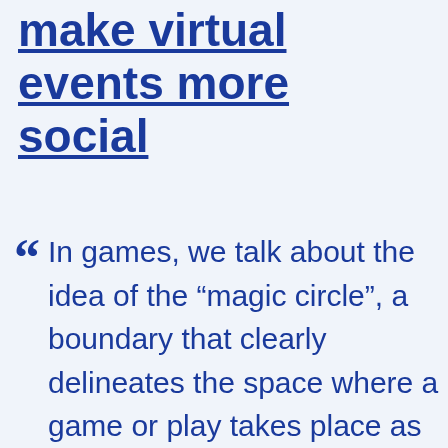make virtual events more social
In games, we talk about the idea of the “magic circle”, a boundary that clearly delineates the space where a game or play takes place as distinct from the normal world. Activities within the magic